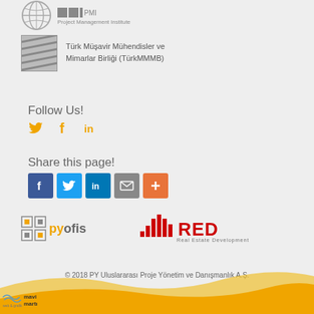[Figure (logo): Globe/network icon and PMI Project Management Institute logo at top]
[Figure (logo): TürkMMMB logo - Türk Müşavir Mühendisler ve Mimarlar Birliği with diagonal striped square icon]
Türk Müşavir Mühendisler ve Mimarlar Birliği (TürkMMMB)
Follow Us!
Social icons: Twitter, Facebook, LinkedIn (orange color)
Share this page!
[Figure (infographic): Share buttons: Facebook (blue), Twitter (light blue), LinkedIn (dark blue), Email (grey), Plus/More (orange)]
[Figure (logo): pyofis logo - grid squares icon with py in orange and ofis in grey]
[Figure (logo): RED Real Estate Development logo - bar chart bars in red with RED text and tagline]
© 2018 PY Uluslararası Proje Yönetim ve Danışmanlık A.Ş.
[Figure (illustration): Wave decoration footer in yellow/orange gradient]
[Figure (logo): mavi martı web & grafik logo at bottom left]